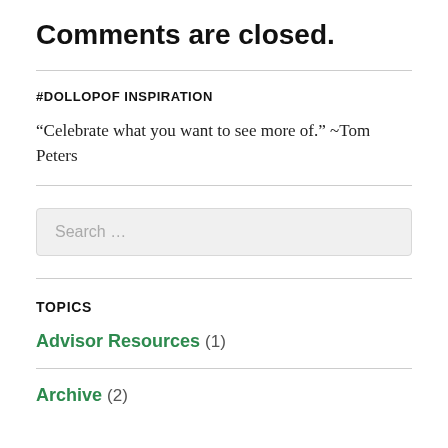Comments are closed.
#DOLLOPOF INSPIRATION
“Celebrate what you want to see more of.” ~Tom Peters
Search …
TOPICS
Advisor Resources (1)
Archive (2)